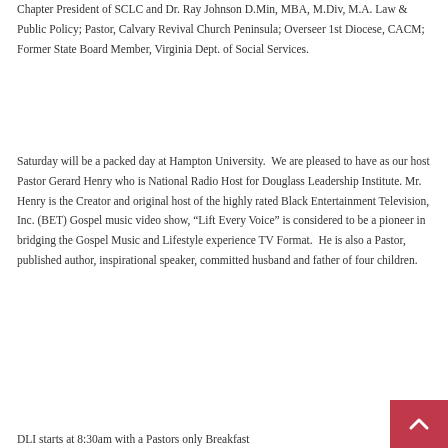Chapter President of SCLC and Dr. Ray Johnson D.Min, MBA, M.Div, M.A. Law & Public Policy; Pastor, Calvary Revival Church Peninsula; Overseer 1st Diocese, CACM; Former State Board Member, Virginia Dept. of Social Services.
Saturday will be a packed day at Hampton University. We are pleased to have as our host Pastor Gerard Henry who is National Radio Host for Douglass Leadership Institute. Mr. Henry is the Creator and original host of the highly rated Black Entertainment Television, Inc. (BET) Gospel music video show, "Lift Every Voice" is considered to be a pioneer in bridging the Gospel Music and Lifestyle experience TV Format. He is also a Pastor, published author, inspirational speaker, committed husband and father of four children.
DLI starts at 8:30am with a Pastors only Breakfast